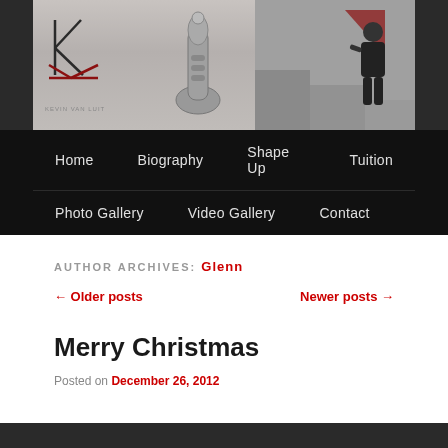[Figure (photo): Website header image showing a logo on the left and a person sitting on steps holding a brass instrument on the right, monochrome/grayscale]
Home | Biography | Shape Up | Tuition | Photo Gallery | Video Gallery | Contact
AUTHOR ARCHIVES: Glenn
← Older posts    Newer posts →
Merry Christmas
Posted on December 26, 2012